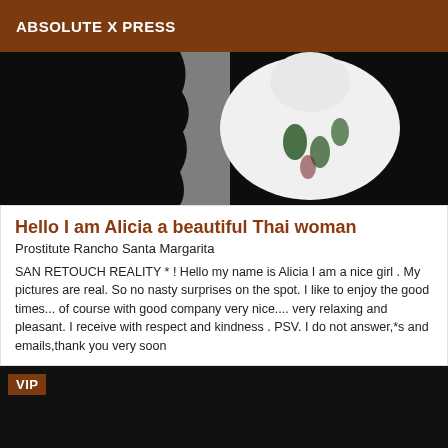ABSOLUTE X PRESS
[Figure (photo): A photograph of a woman in a white garment with floral pattern against a black background, partially visible]
Hello I am Alicia a beautiful Thai woman
Prostitute Rancho Santa Margarita
SAN RETOUCH REALITY * ! Hello my name is Alicia I am a nice girl . My pictures are real. So no nasty surprises on the spot. I like to enjoy the good times... of course with good company very nice.... very relaxing and pleasant. I receive with respect and kindness . PSV. I do not answer,*s and emails,thank you very soon
[Figure (photo): Dark/black image with VIP label in upper left corner]